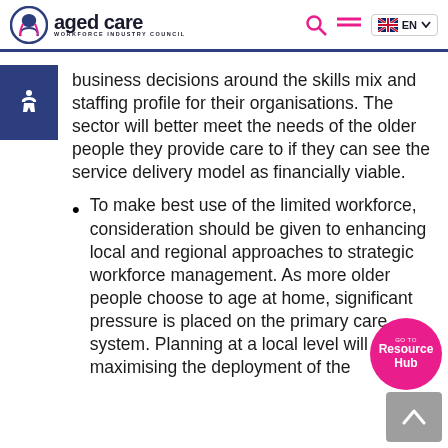aged care WORKFORCE INDUSTRY COUNCIL
business decisions around the skills mix and staffing profile for their organisations. The sector will better meet the needs of the older people they provide care to if they can see the service delivery model as financially viable.
To make best use of the limited workforce, consideration should be given to enhancing local and regional approaches to strategic workforce management. As more older people choose to age at home, significant pressure is placed on the primary care system. Planning at a local level will support maximising the deployment of the